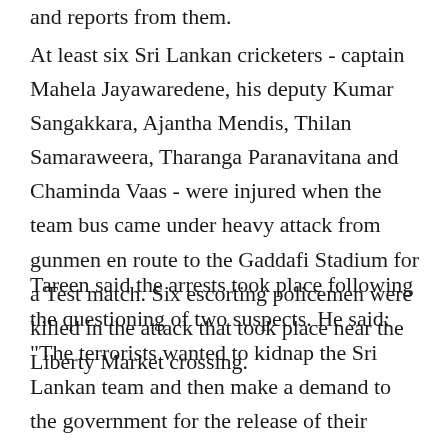and reports from them.
At least six Sri Lankan cricketers - captain Mahela Jayawaredene, his deputy Kumar Sangakkara, Ajantha Mendis, Thilan Samaraweera, Tharanga Paranavitana and Chaminda Vaas - were injured when the team bus came under heavy attack from gunmen en route to the Gaddafi Stadium for a Test match. Six escorting policemen were killed in the attack that took place near the Liberty Market crossing.
Tareen said the arrests took place following the questioning of two suspects. He said: "The terrorists wanted to kidnap the Sri Lankan team and then make a demand to the government for the release of their important leaders arrested by law enforcement agencies."